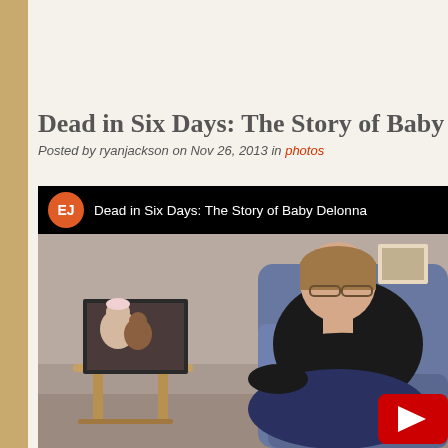Dead in Six Days: The Story of Baby Delonna S
Posted by ryanjackson on Nov 26, 2013 in photos
[Figure (screenshot): Video thumbnail showing a woman sitting in an armchair next to a side table with a framed photo of a baby. The video has a top bar showing an orange EJ channel icon and the title 'Dead in Six Days: The Story of Baby Delonna'. A red YouTube play button is visible in the bottom right corner.]